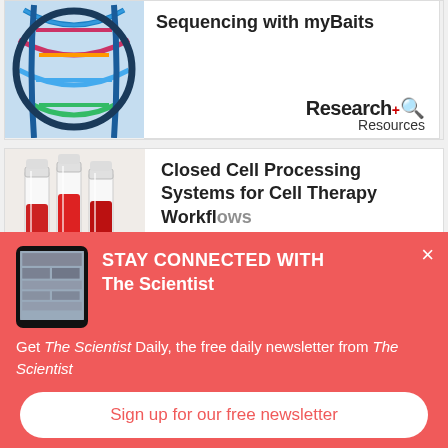[Figure (illustration): DNA double helix illustration on light blue background]
Sequencing with myBaits
[Figure (logo): Research+ Resources logo]
[Figure (photo): Photo of blood collection tubes/vials with red liquid]
Closed Cell Processing Systems for Cell Therapy Workflows
[Figure (illustration): Tablet device showing The Scientist Daily app]
STAY CONNECTED WITH The Scientist
Get The Scientist Daily, the free daily newsletter from The Scientist
Sign up for our free newsletter